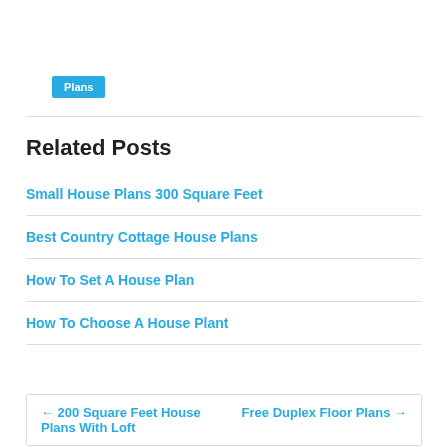Plans
Related Posts
Small House Plans 300 Square Feet
Best Country Cottage House Plans
How To Set A House Plan
How To Choose A House Plant
← 200 Square Feet House Plans With Loft
Free Duplex Floor Plans →